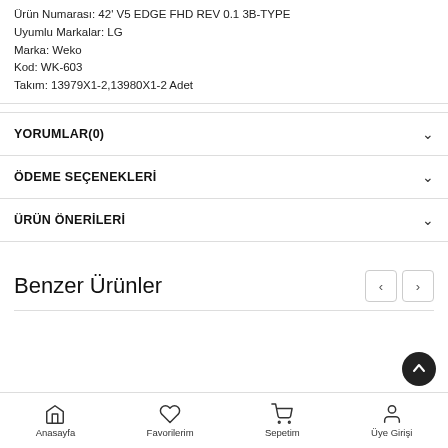Ürün Numarası: 42' V5 EDGE FHD REV 0.1 3B-TYPE
Uyumlu Markalar: LG
Marka: Weko
Kod: WK-603
Takım: 13979X1-2,13980X1-2 Adet
YORUMLAR(0)
ÖDEME SEÇENEKLERİ
ÜRÜN ÖNERİLERİ
Benzer Ürünler
Anasayfa   Favorilerim   Sepetim   Üye Girişi